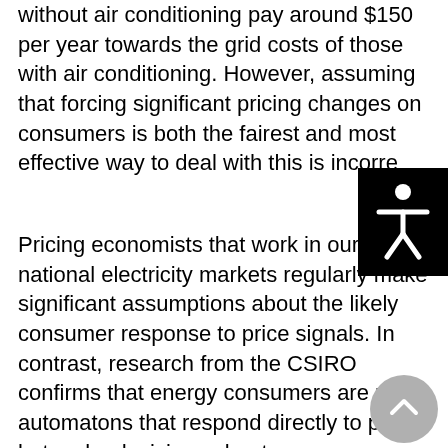without air conditioning pay around $150 per year towards the grid costs of those with air conditioning. However, assuming that forcing significant pricing changes on consumers is both the fairest and most effective way to deal with this is incorre
Pricing economists that work in our national electricity markets regularly make significant assumptions about the likely consumer response to price signals. In contrast, research from the CSIRO confirms that energy consumers are not automatons that respond directly to price, but make decisions about energy consumption in a broader context of their need for the services and amenity that electricity provides.  Moreover, CSIRO's research found that households need help